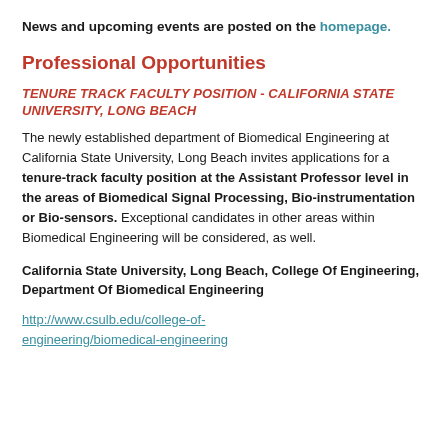News and upcoming events are posted on the homepage.
Professional Opportunities
TENURE TRACK FACULTY POSITION - CALIFORNIA STATE UNIVERSITY, LONG BEACH
The newly established department of Biomedical Engineering at California State University, Long Beach invites applications for a tenure-track faculty position at the Assistant Professor level in the areas of Biomedical Signal Processing, Bio-instrumentation or Bio-sensors. Exceptional candidates in other areas within Biomedical Engineering will be considered, as well.
California State University, Long Beach, College Of Engineering, Department Of Biomedical Engineering
http://www.csulb.edu/college-of-engineering/biomedical-engineering